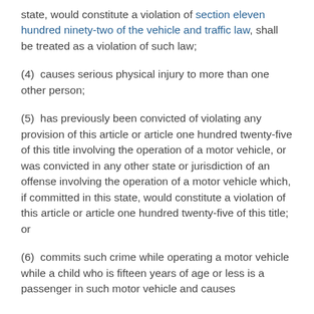state, would constitute a violation of section eleven hundred ninety-two of the vehicle and traffic law, shall be treated as a violation of such law;
(4)  causes serious physical injury to more than one other person;
(5)  has previously been convicted of violating any provision of this article or article one hundred twenty-five of this title involving the operation of a motor vehicle, or was convicted in any other state or jurisdiction of an offense involving the operation of a motor vehicle which, if committed in this state, would constitute a violation of this article or article one hundred twenty-five of this title;  or
(6)  commits such crime while operating a motor vehicle while a child who is fifteen years of age or less is a passenger in such motor vehicle and causes